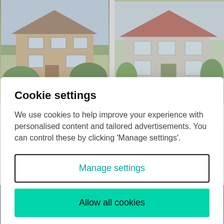[Figure (photo): Photo of a brick semi-detached house with garden and hedgerow in front, left property listing]
[Figure (photo): Photo of a detached house with red roof and garden, right property listing]
£800,000
£650,000
Cookie settings
We use cookies to help improve your experience with personalised content and tailored advertisements. You can control these by clicking 'Manage settings'.
Manage settings
Allow all cookies
Email agent
Call agent